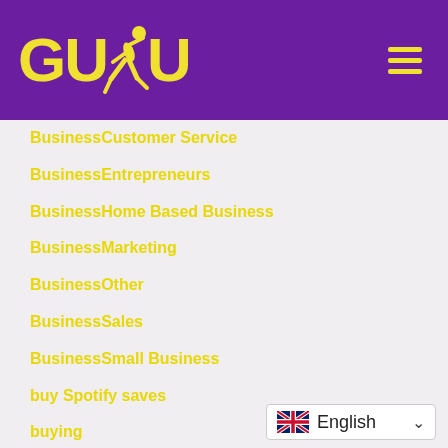[Figure (logo): GUDU logo with yellow text and running figure on purple background, with hamburger menu icon]
BusinessCustomer Service
BusinessEntrepreneurs
BusinessHome Based Business
BusinessMarketing
BusinessOther
BusinessSales
BusinessSmall Business
buy Spotify saves
buying
buying selling auctions
c
call girls
[Figure (other): English language selector dropdown with UK flag]